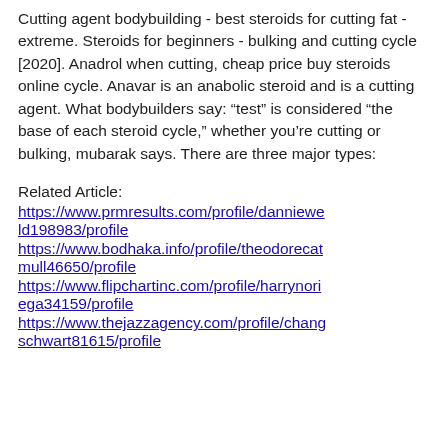Cutting agent bodybuilding - best steroids for cutting fat - extreme. Steroids for beginners - bulking and cutting cycle [2020]. Anadrol when cutting, cheap price buy steroids online cycle. Anavar is an anabolic steroid and is a cutting agent. What bodybuilders say: “test” is considered “the base of each steroid cycle,” whether you’re cutting or bulking, mubarak says. There are three major types:
Related Article:
https://www.prmresults.com/profile/dannieweld198983/profile https://www.bodhaka.info/profile/theodorecat mull46650/profile https://www.flipchartinc.com/profile/harrynoriega34159/profile https://www.thejazzagency.com/profile/changschwart81615/profile